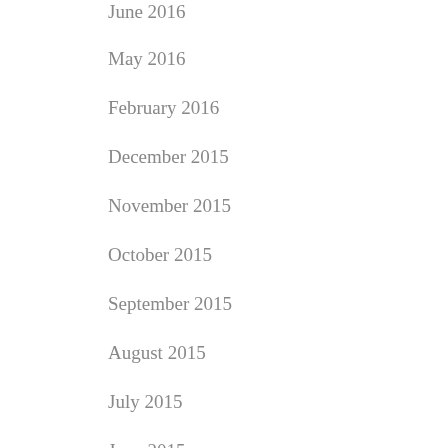June 2016
May 2016
February 2016
December 2015
November 2015
October 2015
September 2015
August 2015
July 2015
June 2015
May 2015
April 2015
March 2015
February 2015